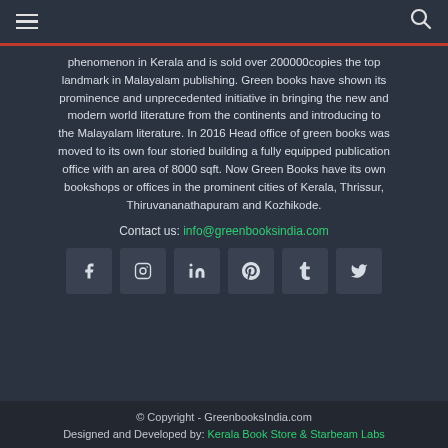Navigation bar with hamburger menu and search icon
phenomenon in Kerala and is sold over 200000copies the top landmark in Malayalam publishing. Green books have shown its prominence and unprecedented initiative in bringing the new and modern world literature from the continents and introducing to the Malayalam literature. In 2016 Head office of green books was moved to its own four storied building a fully equipped publication office with an area of 8000 sqft. Now Green Books have its own bookshops or offices in the prominent cities of Kerala, Thrissur, Thiruvananathapuram and Kozhikode.
Contact us: info@greenbooksindia.com
[Figure (infographic): Row of six social media icon buttons: Facebook, Instagram, LinkedIn, Pinterest, Tumblr, Twitter]
© Copyright - GreenbooksIndia.com
Designed and Developed by: Kerala Book Store & Starbeam Labs